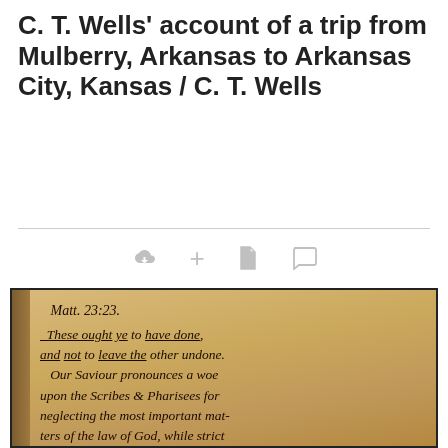C. T. Wells' account of a trip from Mulberry, Arkansas to Arkansas City, Kansas / C. T. Wells
[Figure (photo): Photograph of a handwritten manuscript page from what appears to be a journal or diary. The text reads: 'Matt. 23:23. These ought ye to have done, and not to leave the other undone. Our Savious pronounces a woe upon the Scribes & Pharisees for neglecting the most important matters of the law of God, while strict in the payment of tithes. A careless reading is apt to leave...']